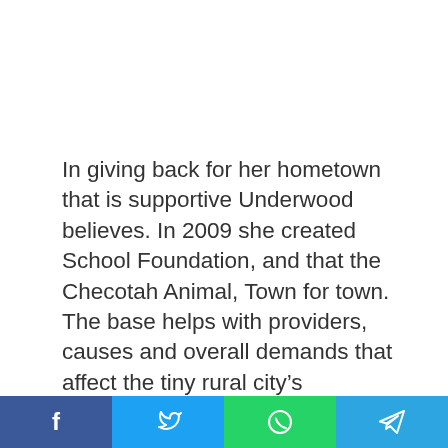In giving back for her hometown that is supportive Underwood believes. In 2009 she created School Foundation, and that the Checotah Animal, Town for town. The base helps with providers, causes and overall demands that affect the tiny rural city's community. A massive supporter of animal rights, " she's completed multiple public service announcements for the Humane Society along with a “Safeguard Your Clients” statement for Do Something.
f  t  WhatsApp  Telegram